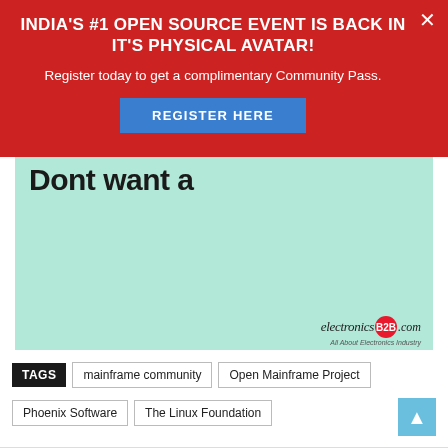INDIA'S #1 OPEN SOURCE EVENT IS BACK IN IT'S PHYSICAL AVATAR!
Register today to get a complimentary Community Pass.
[Figure (other): Blue button labeled REGISTER HERE on red banner]
[Figure (other): Advertisement banner with mint green background, partial bold text 'Dont want a', and electronicsB2B.com logo at bottom right]
TAGS   mainframe community   Open Mainframe Project   Phoenix Software   The Linux Foundation